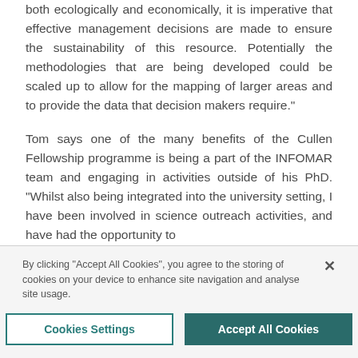both ecologically and economically, it is imperative that effective management decisions are made to ensure the sustainability of this resource. Potentially the methodologies that are being developed could be scaled up to allow for the mapping of larger areas and to provide the data that decision makers require."
Tom says one of the many benefits of the Cullen Fellowship programme is being a part of the INFOMAR team and engaging in activities outside of his PhD. "Whilst also being integrated into the university setting, I have been involved in science outreach activities, and have had the opportunity to
By clicking "Accept All Cookies", you agree to the storing of cookies on your device to enhance site navigation and analyse site usage.
Cookies Settings
Accept All Cookies